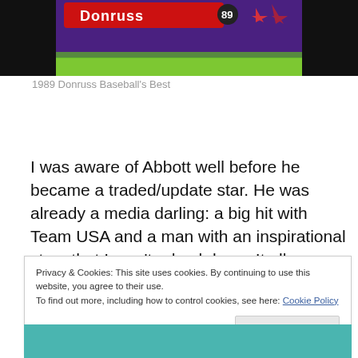[Figure (photo): Top portion of a 1989 Donruss Baseball's Best trading card showing colorful logo with purple and yellow design elements]
1989 Donruss Baseball's Best
I was aware of Abbott well before he became a traded/update star. He was already a media darling: a big hit with Team USA and a man with an inspirational story that I won't rehash here. It all gave him something of a
Privacy & Cookies: This site uses cookies. By continuing to use this website, you agree to their use.
To find out more, including how to control cookies, see here: Cookie Policy
Close and accept
[Figure (photo): Bottom portion showing a teal/blue colored image, partially visible]